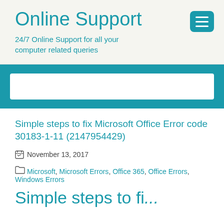Online Support
24/7 Online Support for all your computer related queries
[Figure (screenshot): White search input box on teal navigation bar background]
Simple steps to fix Microsoft Office Error code 30183-1-11 (2147954429)
November 13, 2017
Microsoft, Microsoft Errors, Office 365, Office Errors, Windows Errors
Simple steps to fi...